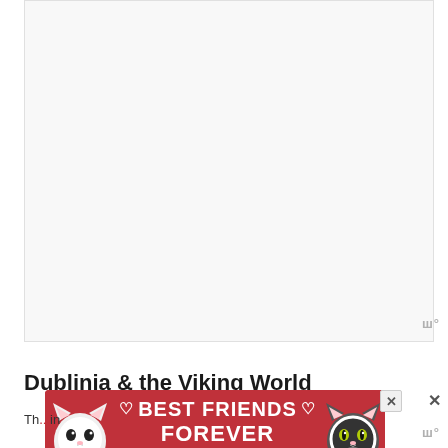[Figure (screenshot): Large white/light gray blank rectangular area occupying the upper portion of the page, likely a video or image embed placeholder]
ш°
Dublinia & the Viking World
[Figure (illustration): Advertisement banner with red background showing two cat faces on either side and bold white text reading BEST FRIENDS FOREVER with heart symbols]
Th...in